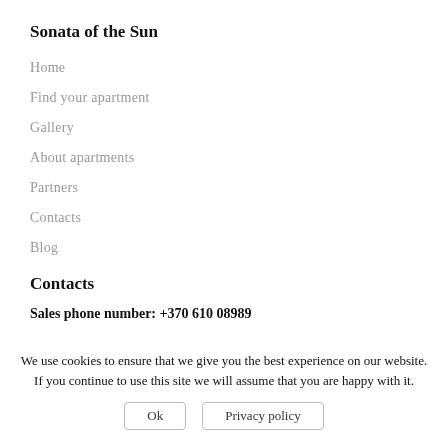Sonata of the Sun
Home
Find your apartment
Gallery
About apartments
Partners
Contacts
Blog
Contacts
Sales phone number: +370 610 08989
We use cookies to ensure that we give you the best experience on our website. If you continue to use this site we will assume that you are happy with it.
Ok   Privacy policy